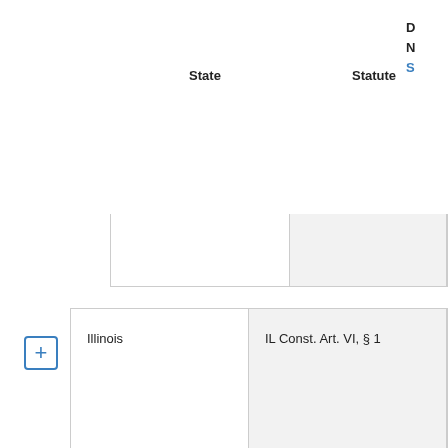| State | Statute |
| --- | --- |
| Illinois | IL Const. Art. VI, § 1 |
| Indiana | IN Const. Art. 7, § 1 |